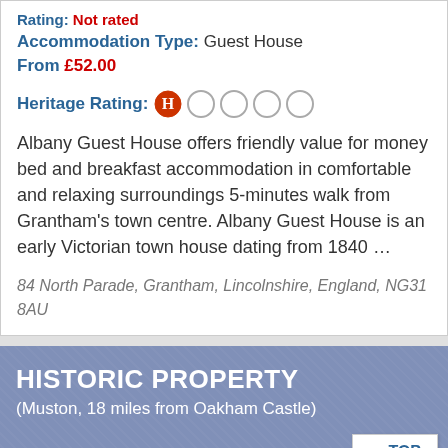Rating: Not rated
Accommodation Type: Guest House
From £52.00
Heritage Rating: H○○○○
Albany Guest House offers friendly value for money bed and breakfast accommodation in comfortable and relaxing surroundings 5-minutes walk from Grantham's town centre. Albany Guest House is an early Victorian town house dating from 1840 …
84 North Parade, Grantham, Lincolnshire, England, NG31 8AU
HISTORIC PROPERTY (Muston, 18 miles from Oakham Castle)